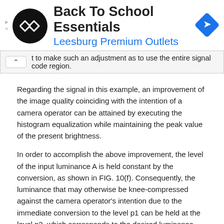[Figure (advertisement): Ad banner: Back To School Essentials - Leesburg Premium Outlets with logo and navigation icon]
t to make such an adjustment as to use the entire signal code region.
Regarding the signal in this example, an improvement of the image quality coinciding with the intention of a camera operator can be attained by executing the histogram equalization while maintaining the peak value of the present brightness.
In order to accomplish the above improvement, the level of the input luminance A is held constant by the conversion, as shown in FIG. 10(f). Consequently, the luminance that may otherwise be knee-compressed against the camera operator's intention due to the immediate conversion to the level p1 can be held at the level p2, which corresponds to the desired luminance level intended by the camera operator.
In particular, the following two processes (1) and (2) are executed. That is, the process of calculating the conversion gain p2/p1 for converting the level of the input luminance A to p2; and the process of multiplying the amplitude transfer characteristic, which is obtained in FIG. 10(e), by the conversion gain thus calculated. However, if a multiplication of the signal code by the